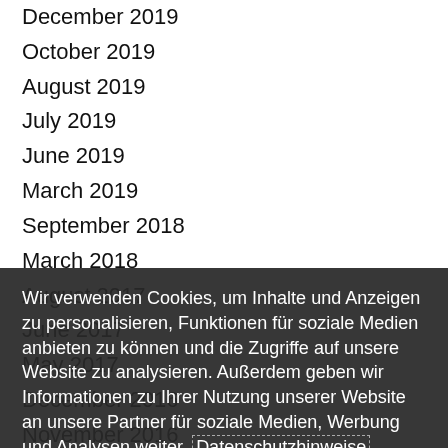December 2019
October 2019
August 2019
July 2019
June 2019
March 2019
September 2018
March 2018
August 2017
June 2017
May 2017
December 2016
November 2016
October 2016
September 2016
August 2016
July 2016
June 2016
December 2015
November 2015
October 2015
September 2015
Wir verwenden Cookies, um Inhalte und Anzeigen zu personalisieren, Funktionen für soziale Medien anbieten zu können und die Zugriffe auf unsere Website zu analysieren. Außerdem geben wir Informationen zu Ihrer Nutzung unserer Website an unsere Partner für soziale Medien, Werbung und Analysen weiter. Datenschutzhinweise
Cookie-Einstellungen
✓ Cookies Akzeptieren